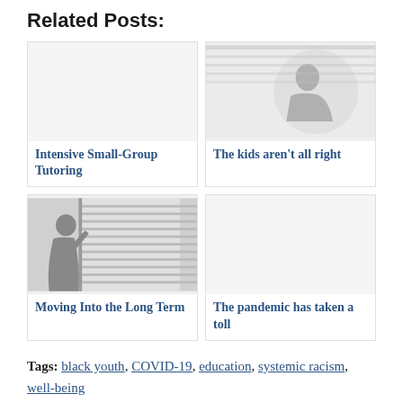Related Posts:
[Figure (illustration): Card image placeholder - blank/white box for Intensive Small-Group Tutoring post]
Intensive Small-Group Tutoring
[Figure (photo): Card image - silhouette of a child figure against a light background for The kids aren't all right post]
The kids aren’t all right
[Figure (photo): Card image - silhouette of a person looking out of a window with blinds for Moving Into the Long Term post]
Moving Into the Long Term
[Figure (illustration): Card image placeholder - blank/white box for The pandemic has taken a toll post]
The pandemic has taken a toll
Tags: black youth, COVID-19, education, systemic racism, well-being